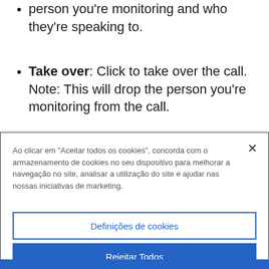Barge: Click to enter the call with the person you're monitoring and who they're speaking to.
Take over: Click to take over the call. Note: This will drop the person you're monitoring from the call.
Ao clicar em "Aceitar todos os cookies", concorda com o armazenamento de cookies no seu dispositivo para melhorar a navegação no site, analisar a utilização do site e ajudar nas nossas iniciativas de marketing.
Definições de cookies
Rejeitar Todos